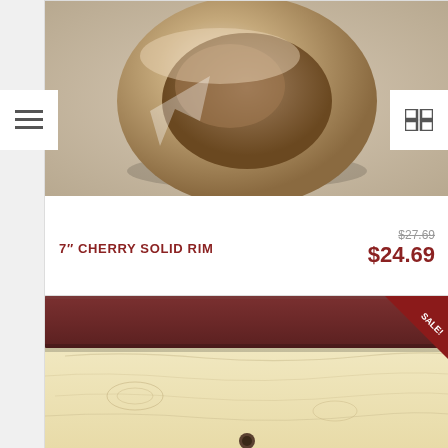[Figure (photo): Close-up photo of a wooden ring / cherry solid rim, circular wooden band on a neutral background]
7″ CHERRY SOLID RIM
$27.69 (strikethrough original price)
$24.69
[Figure (photo): Photo of a dark brownish-red board (cherry wood) resting on a light maple wood surface with visible grain, small hole at bottom center. SALE! badge in top right corner.]